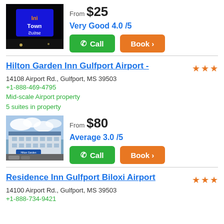[Figure (photo): Hotel exterior at night with blue illuminated sign (Town Suites Inn reversed), dark background]
From $25
Very Good 4.0 /5
Call | Book >
Hilton Garden Inn Gulfport Airport -
14108 Airport Rd., Gulfport, MS 39503
+1-888-469-4795
Mid-scale Airport property
5 suites in property
[Figure (photo): Hilton Garden Inn Gulfport Airport exterior photo showing hotel building with parking lot]
From $80
Average 3.0 /5
Call | Book >
Residence Inn Gulfport Biloxi Airport
14100 Airport Rd., Gulfport, MS 39503
+1-888-734-9421